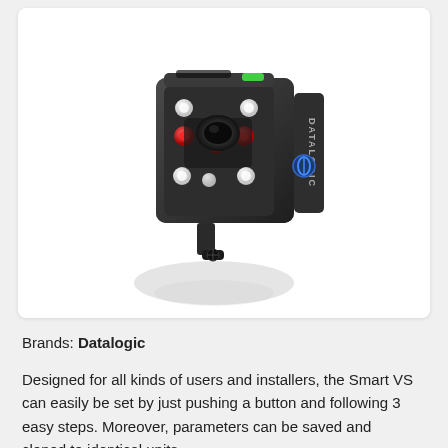[Figure (photo): A Datalogic Smart VS barcode reader/machine vision sensor device on a white background with shadow reflection. The compact square device has red and white LEDs on the front, a lens, and the Datalogic brand logo on the side.]
Brands: Datalogic
Designed for all kinds of users and installers, the Smart VS can easily be set by just pushing a button and following 3 easy steps. Moreover, parameters can be saved and cloned to identical units...